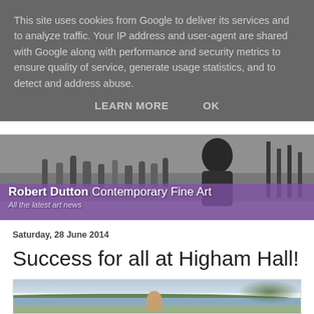This site uses cookies from Google to deliver its services and to analyze traffic. Your IP address and user-agent are shared with Google along with performance and security metrics to ensure quality of service, generate usage statistics, and to detect and address abuse.
LEARN MORE   OK
[Figure (photo): Website header banner showing an artist at work with paint supplies in black and white, overlaid with a purple/violet gradient at the bottom, with the site title 'Robert Dutton Contemporary Fine Art' and tagline 'All the latest art news']
Saturday, 28 June 2014
Success for all at Higham Hall!
[Figure (photo): Partial photo showing a person with reddish hair outdoors near a lake or river, with green hills and trees in the background]